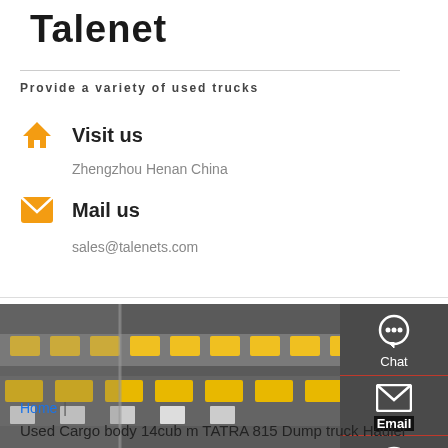Talenet
Provide a variety of used trucks
Visit us
Zhengzhou Henan China
Mail us
sales@talenets.com
[Figure (photo): Aerial view of a truck parking lot with yellow and white trucks on grey tarmac]
Home  |
Used Cargo body 14cub m TATRA 815 Dump truck Hauler